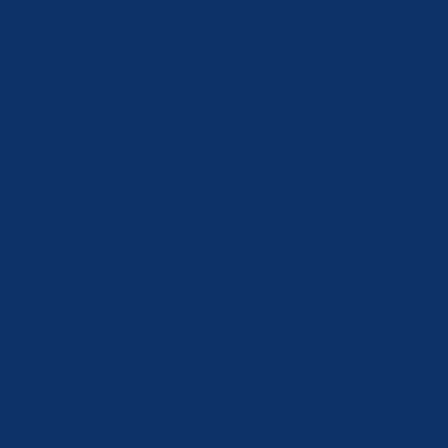nce of people who will always hate us, regardless of wh